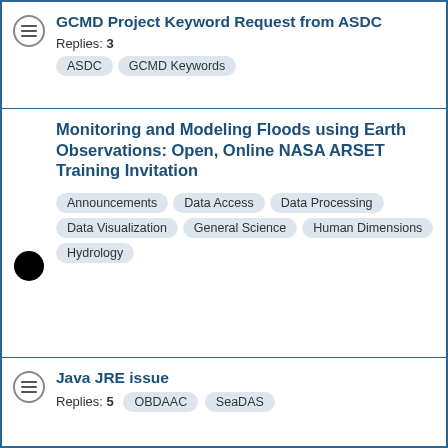GCMD Project Keyword Request from ASDC
Monitoring and Modeling Floods using Earth Observations: Open, Online NASA ARSET Training Invitation
Java JRE issue